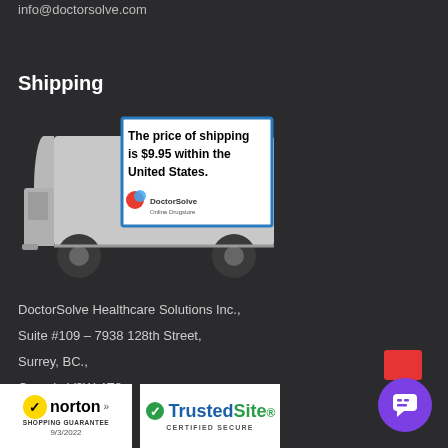info@doctorsolve.com
Shipping
[Figure (illustration): A gray delivery truck illustration with a sign on the trailer reading: The price of shipping is $9.95 within the United States. DoctorSolve logo shown in the sign.]
DoctorSolve Healthcare Solutions Inc.,
Suite #109 – 7938 128th Street,
Surrey, BC.,
Canada V3W 4E8
[Figure (logo): Norton Shopping Guarantee badge with checkmark, date 9/3/2022]
[Figure (logo): TrustedSite Certified Secure badge with green checkmark]